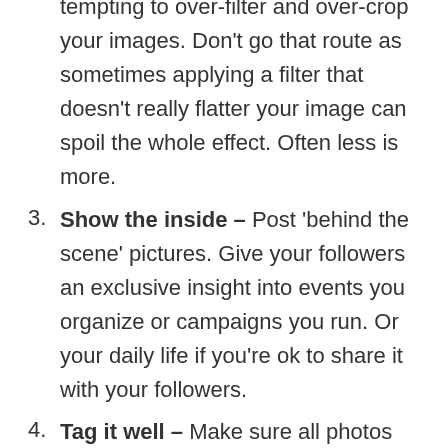tempting to over-filter and over-crop your images. Don't go that route as sometimes applying a filter that doesn't really flatter your image can spoil the whole effect. Often less is more.
Show the inside – Post 'behind the scene' pictures. Give your followers an exclusive insight into events you organize or campaigns you run. Or your daily life if you're ok to share it with your followers.
Tag it well – Make sure all photos